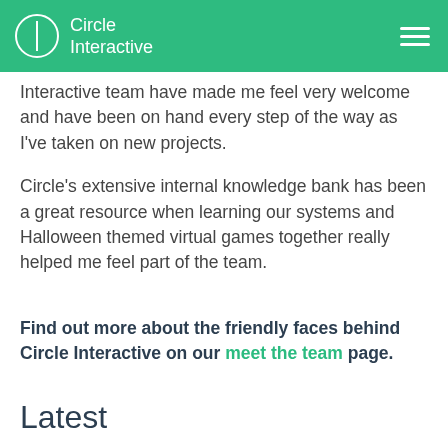Circle Interactive
Interactive team have made me feel very welcome and have been on hand every step of the way as I've taken on new projects.
Circle's extensive internal knowledge bank has been a great resource when learning our systems and Halloween themed virtual games together really helped me feel part of the team.
Find out more about the friendly faces behind Circle Interactive on our meet the team page.
Latest
Marketing Manager new role